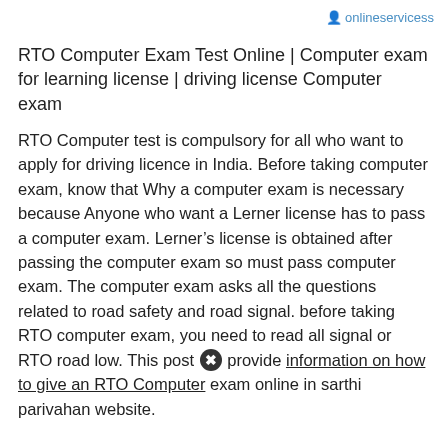onlineservicess
RTO Computer Exam Test Online | Computer exam for learning license | driving license Computer exam
RTO Computer test is compulsory for all who want to apply for driving licence in India. Before taking computer exam, know that Why a computer exam is necessary because Anyone who want a Lerner license has to pass a computer exam. Lerner’s license is obtained after passing the computer exam so must pass computer exam. The computer exam asks all the questions related to road safety and road signal. before taking RTO computer exam, you need to read all signal or RTO road low. This post ╳ provide information on how to give an RTO Computer exam online in sarthi parivahan website.